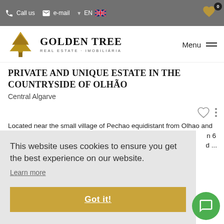Call us  e-mail  EN
[Figure (logo): Golden Tree Real Estate Imobiliária logo with golden tree icon]
PRIVATE AND UNIQUE ESTATE IN THE COUNTRYSIDE OF OLHÃO
Central Algarve
Located near the small village of Pechao equidistant from Olhao and Faro, this unique and magnificent private luxury ...
This website uses cookies to ensure you get the best experience on our website.
Learn more
Got it!